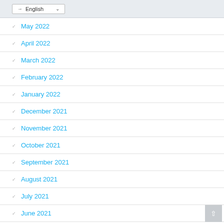→ English
May 2022
April 2022
March 2022
February 2022
January 2022
December 2021
November 2021
October 2021
September 2021
August 2021
July 2021
June 2021
May 2021